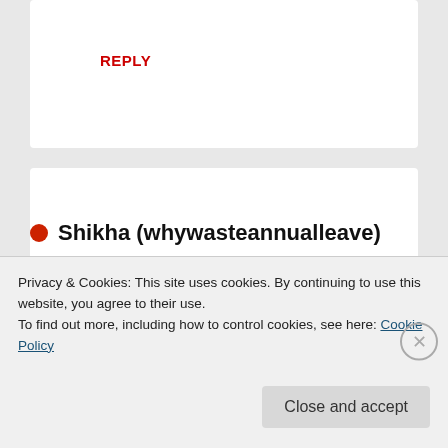REPLY
Shikha (whywasteannualleave)
September 12, 2016 — 4:58 pm
Thanks so much for reading! I think cruising is definitely a bit of an acquired taste and not everyone's cup of tea so I can
Privacy & Cookies: This site uses cookies. By continuing to use this website, you agree to their use.
To find out more, including how to control cookies, see here: Cookie Policy